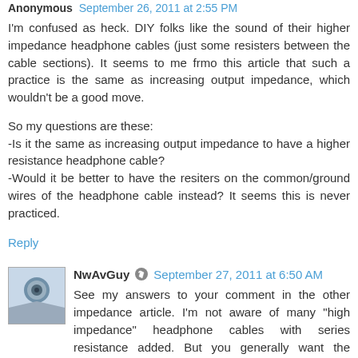Anonymous September 26, 2011 at 2:55 PM
I'm confused as heck. DIY folks like the sound of their higher impedance headphone cables (just some resisters between the cable sections). It seems to me frmo this article that such a practice is the same as increasing output impedance, which wouldn't be a good move.
So my questions are these:
-Is it the same as increasing output impedance to have a higher resistance headphone cable?
-Would it be better to have the resiters on the common/ground wires of the headphone cable instead? It seems this is never practiced.
Reply
NwAvGuy September 27, 2011 at 6:50 AM
See my answers to your comment in the other impedance article. I'm not aware of many "high impedance" headphone cables with series resistance added. But you generally want the resistance of the common wire to be as low as possible as even small amounts of resistance there